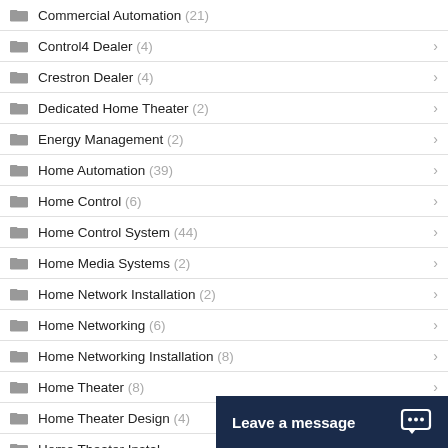Commercial Automation (21)
Control4 Dealer (4)
Crestron Dealer (4)
Dedicated Home Theater (2)
Energy Management (2)
Home Automation (39)
Home Control (6)
Home Control System (44)
Home Media Systems (2)
Home Network Installation (2)
Home Networking (6)
Home Networking Installation (8)
Home Theater (8)
Home Theater Design (4)
Home Theater Instal...
Home Theater Syste...